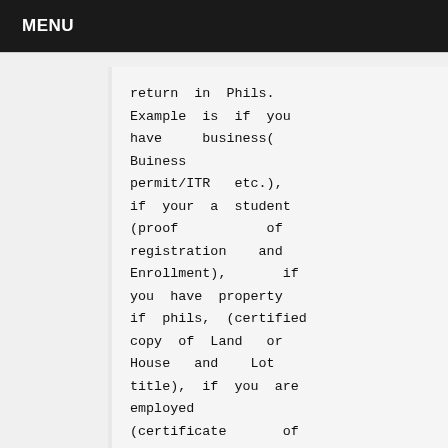MENU
return in Phils. Example is if you have business( Buiness permit/ITR etc.), if your a student (proof of registration and Enrollment), if you have property if phils, (certified copy of Land or House and Lot title), if you are employed (certificate of